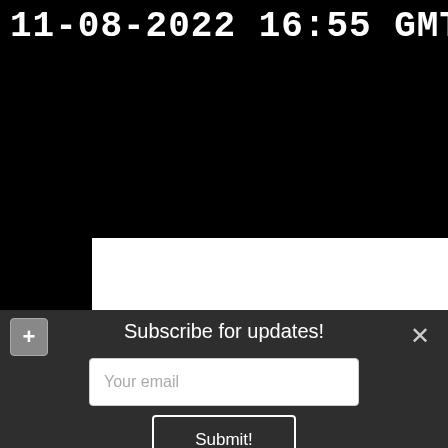11-08-2022 16:55 GMT
[Figure (screenshot): Black background area filling top portion of page, with a white panel partially visible at bottom-right]
Subscribe for updates!
Your email
Submit!